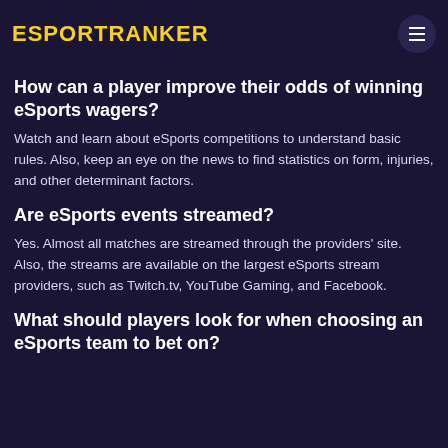ESPORTRANKER
criteria range from the number of betting markets to the selection of available bets, payment methods, and other factors like website reputation.
How can a player improve their odds of winning eSports wagers?
Watch and learn about eSports competitions to understand basic rules. Also, keep an eye on the news to find statistics on form, injuries, and other determinant factors.
Are eSports events streamed?
Yes. Almost all matches are streamed through the providers' site. Also, the streams are available on the largest eSports stream providers, such as Twitch.tv, YouTube Gaming, and Facebook.
What should players look for when choosing an eSports team to bet on?